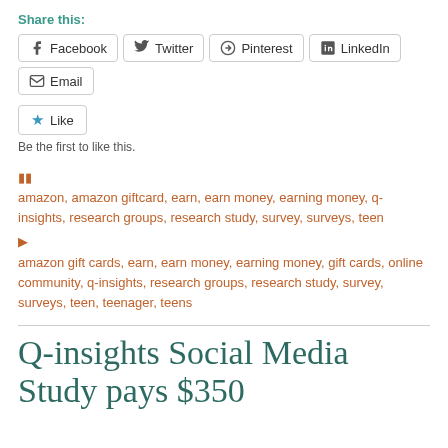Share this:
Facebook, Twitter, Pinterest, LinkedIn, Email
Like
Be the first to like this.
amazon, amazon giftcard, earn, earn money, earning money, q-insights, research groups, research study, survey, surveys, teen
amazon gift cards, earn, earn money, earning money, gift cards, online community, q-insights, research groups, research study, survey, surveys, teen, teenager, teens
Q-insights Social Media Study pays $350